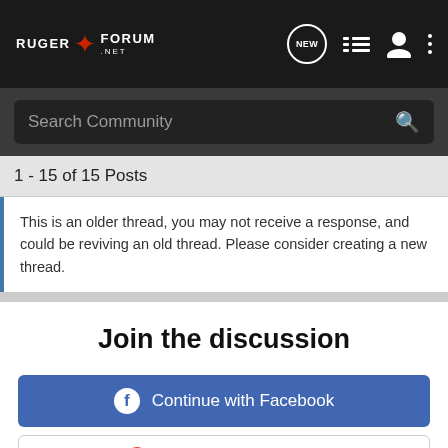Ruger Forum .net — navigation header with NEW, list, user, and menu icons
Search Community
1 - 15 of 15 Posts
This is an older thread, you may not receive a response, and could be reviving an old thread. Please consider creating a new thread.
Join the discussion
Continue with Facebook
Continue with Google
or sign up with email